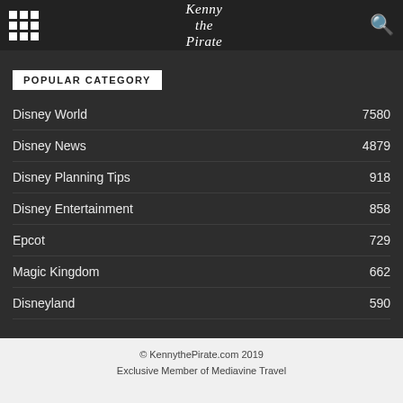Kenny the Pirate
POPULAR CATEGORY
Disney World  7580
Disney News  4879
Disney Planning Tips  918
Disney Entertainment  858
Epcot  729
Magic Kingdom  662
Disneyland  590
© KennythePirate.com 2019
Exclusive Member of Mediavine Travel